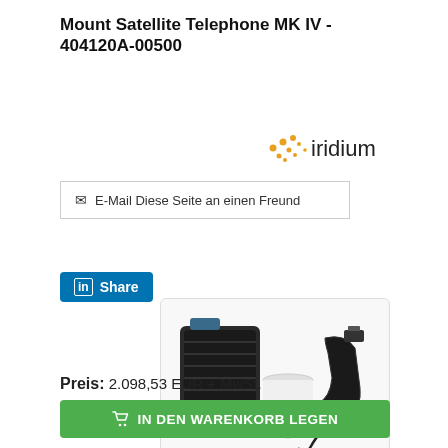Mount Satellite Telephone MK IV - 404120A-00500
[Figure (logo): Iridium company logo with orange dots pattern and dark text 'iridium']
✉ E-Mail Diese Seite an einen Freund
[Figure (logo): LinkedIn Share button (blue background, white 'in' icon and 'Share' text)]
[Figure (photo): Product photo of Mount Satellite Telephone MK IV components: a dark transceiver unit, a white dome antenna labeled SAILOR, and a handset with coiled cord]
Preis: 2.098,53 EUR + MwSt.
IN DEN WARENKORB LEGEN